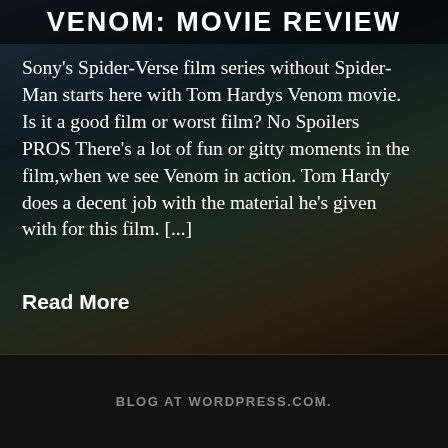VENOM: MOVIE REVIEW
Sony's Spider-Verse film series without Spider-Man starts here with Tom Hardys Venom movie. Is it a good film or worst film? No Spoilers PROS There's a lot of fun or gitty moments in the film,when we see Venom in action. Tom Hardy does a decent job with the material he's given with for this film. [...]
Read More
BLOG AT WORDPRESS.COM.